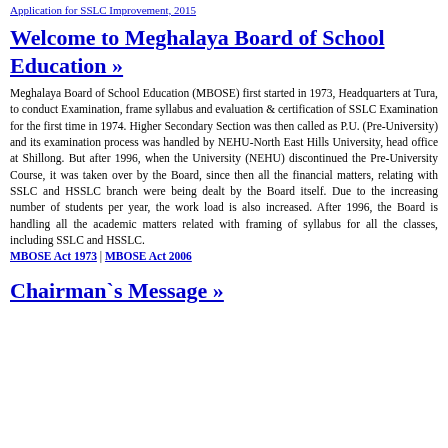Application for SSLC Improvement, 2015
Welcome to Meghalaya Board of School Education »
Meghalaya Board of School Education (MBOSE) first started in 1973, Headquarters at Tura, to conduct Examination, frame syllabus and evaluation & certification of SSLC Examination for the first time in 1974. Higher Secondary Section was then called as P.U. (Pre-University) and its examination process was handled by NEHU-North East Hills University, head office at Shillong. But after 1996, when the University (NEHU) discontinued the Pre-University Course, it was taken over by the Board, since then all the financial matters, relating with SSLC and HSSLC branch were being dealt by the Board itself. Due to the increasing number of students per year, the work load is also increased. After 1996, the Board is handling all the academic matters related with framing of syllabus for all the classes, including SSLC and HSSLC.
MBOSE Act 1973 | MBOSE Act 2006
Chairman`s Message »